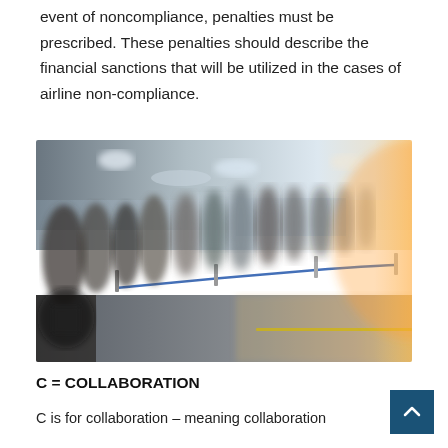event of noncompliance, penalties must be prescribed. These penalties should describe the financial sanctions that will be utilized in the cases of airline non-compliance.
[Figure (photo): Blurred photograph of a busy airport terminal with passengers queuing in a line separated by a blue rope barrier. Bright sunlight/orange glow visible from the right side. Indoor airport setting with ceiling lights and large windows.]
C = COLLABORATION
C is for collaboration – meaning collaboration